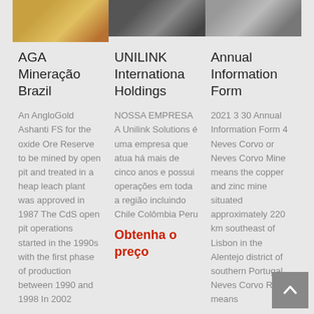[Figure (photo): Three product/site photos in a row at top]
AGA Mineração Brazil
UNILINK Internationa Holdings
Annual Information Form
An AngloGold Ashanti FS for the oxide Ore Reserve to be mined by open pit and treated in a heap leach plant was approved in 1987 The CdS open pit operations started in the 1990s with the first phase of production between 1990 and 1998 In 2002
NOSSA EMPRESA A Unilink Solutions é uma empresa que atua há mais de cinco anos e possui operações em toda a região incluindo Chile Colômbia Peru
Obtenha o preço
2021 3 30 Annual Information Form 4 Neves Corvo or Neves Corvo Mine means the copper and zinc mine situated approximately 220 km southeast of Lisbon in the Alentejo district of southern Portugal Neves Corvo Report means